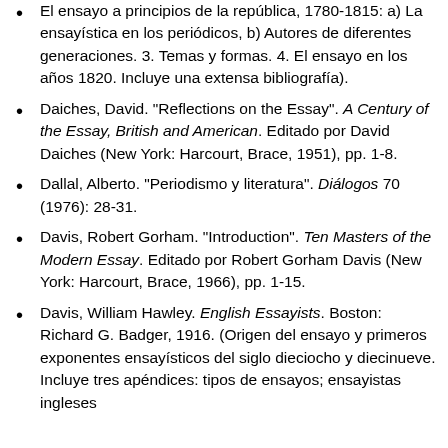El ensayo a principios de la república, 1780-1815: a) La ensayística en los periódicos, b) Autores de diferentes generaciones. 3. Temas y formas. 4. El ensayo en los años 1820. Incluye una extensa bibliografía).
Daiches, David. "Reflections on the Essay". A Century of the Essay, British and American. Editado por David Daiches (New York: Harcourt, Brace, 1951), pp. 1-8.
Dallal, Alberto. "Periodismo y literatura". Diálogos 70 (1976): 28-31.
Davis, Robert Gorham. "Introduction". Ten Masters of the Modern Essay. Editado por Robert Gorham Davis (New York: Harcourt, Brace, 1966), pp. 1-15.
Davis, William Hawley. English Essayists. Boston: Richard G. Badger, 1916. (Origen del ensayo y primeros exponentes ensayísticos del siglo dieciocho y diecinueve. Incluye tres apéndices: tipos de ensayos; ensayistas ingleses